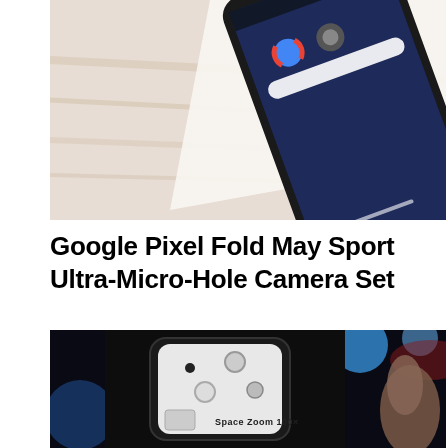[Figure (photo): Close-up photo of a smartphone lying on a wooden surface, showing the screen with app icons including Chrome and camera apps visible]
Google Pixel Fold May Sport Ultra-Micro-Hole Camera Set
[Figure (photo): Close-up photo of a smartphone camera module (appears to be Samsung Galaxy S20 Ultra), showing a large square camera bump with multiple lenses, held in a hand against a dark bokeh background with blue light orbs]